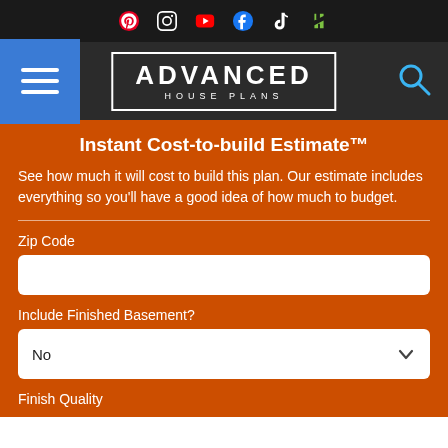Advanced House Plans - website header with social media icons and navigation
Instant Cost-to-build Estimate™
See how much it will cost to build this plan. Our estimate includes everything so you'll have a good idea of how much to budget.
Zip Code
Include Finished Basement?
Finish Quality